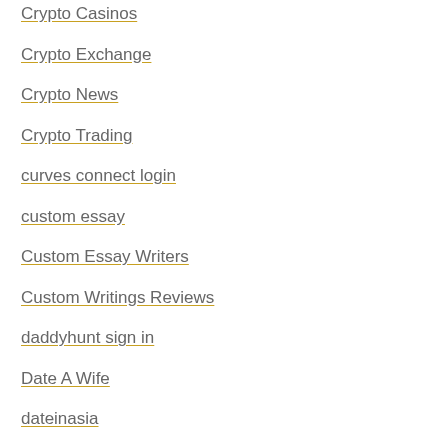Crypto Casinos
Crypto Exchange
Crypto News
Crypto Trading
curves connect login
custom essay
Custom Essay Writers
Custom Writings Reviews
daddyhunt sign in
Date A Wife
dateinasia
Dating Advice
Delaware Payday Loans